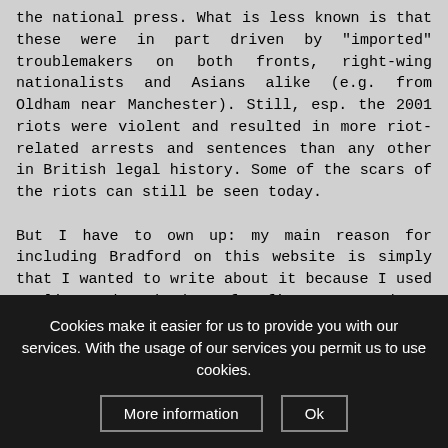the national press. What is less known is that these were in part driven by "imported" troublemakers on both fronts, right-wing nationalists and Asians alike (e.g. from Oldham near Manchester). Still, esp. the 2001 riots were violent and resulted in more riot-related arrests and sentences than any other in British legal history. Some of the scars of the riots can still be seen today.

But I have to own up: my main reason for including Bradford on this website is simply that I wanted to write about it because I used to live and work there for five years and got rather fond of the place! Most outsiders shake their heads in disbelief when I say so, but I do like Bradford, warts and all. (In fact, on the night the summer 2001 race riots took place, I had a party at my house in Shipley, a leaving party as I was about to move away, and a friend abroad with a very
Cookies make it easier for us to provide you with our services. With the usage of our services you permit us to use cookies.
More information
Ok